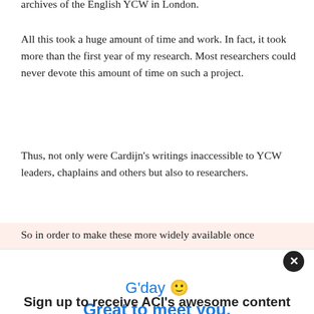archives of the English YCW in London.
All this took a huge amount of time and work. In fact, it took more than the first year of my research. Most researchers could never devote this amount of time on such a project.
Thus, not only were Cardijn's writings inaccessible to YCW leaders, chaplains and others but also to researchers.
So in order to make these more widely available once
G'day 🙂
Great to meet you.
Sign up to receive ACI's awesome content